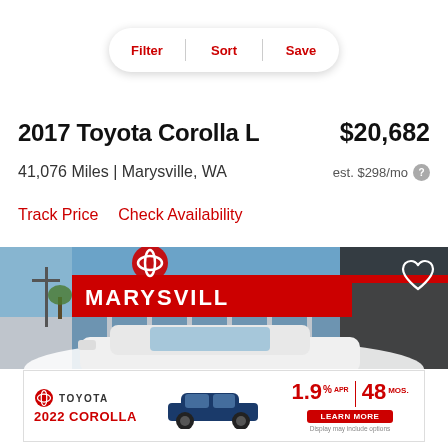Filter | Sort | Save
2017 Toyota Corolla L  $20,682
41,076 Miles | Marysville, WA   est. $298/mo
Track Price    Check Availability
[Figure (photo): White Toyota Corolla in front of Marysville Toyota dealership, blue sky background, heart/favorite icon in top-right corner]
[Figure (other): Toyota advertisement banner: 2022 Corolla, 1.9% APR for 48 months, Learn More button, Display may include options disclaimer]